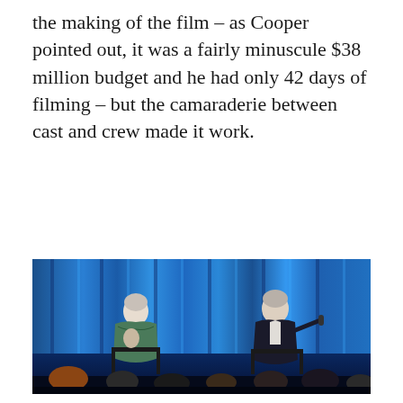the making of the film – as Cooper pointed out, it was a fairly minuscule $38 million budget and he had only 42 days of filming – but the camaraderie between cast and crew made it work.
[Figure (photo): Two people seated on a stage with a shimmering blue curtain backdrop. On the left, a person with short light hair wearing a floral green/blue dress holds what appears to be a child or small figure. On the right, a person with short light hair wearing a dark suit leans back in a chair speaking into a microphone, with an audience visible in the foreground.]